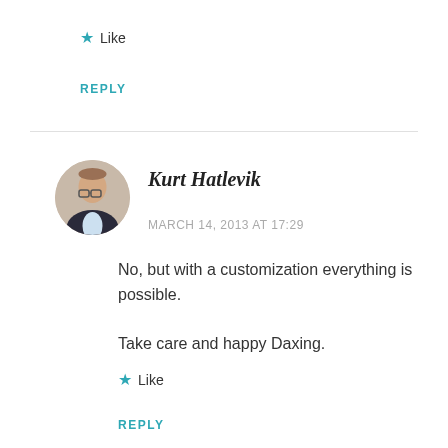★ Like
REPLY
Kurt Hatlevik
MARCH 14, 2013 AT 17:29
No, but with a customization everything is possible.

Take care and happy Daxing.
★ Like
REPLY